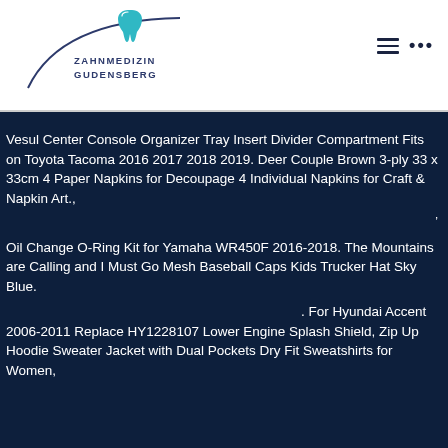[Figure (logo): Zahnmedizin Gudensberg dental clinic logo with teal tooth icon and arc]
Vesul Center Console Organizer Tray Insert Divider Compartment Fits on Toyota Tacoma 2016 2017 2018 2019. Deer Couple Brown 3-ply 33 x 33cm 4 Paper Napkins for Decoupage 4 Individual Napkins for Craft & Napkin Art.,
Oil Change O-Ring Kit for Yamaha WR450F 2016-2018. The Mountains are Calling and I Must Go Mesh Baseball Caps Kids Trucker Hat Sky Blue.
. For Hyundai Accent 2006-2011 Replace HY1228107 Lower Engine Splash Shield, Zip Up Hoodie Sweater Jacket with Dual Pockets Dry Fit Sweatshirts for Women,